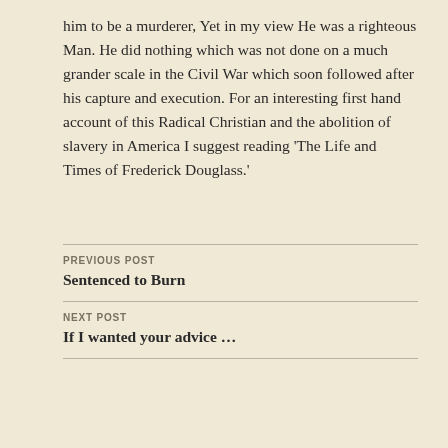him to be a murderer, Yet in my view He was a righteous Man. He did nothing which was not done on a much grander scale in the Civil War which soon followed after his capture and execution. For an interesting first hand account of this Radical Christian and the abolition of slavery in America I suggest reading 'The Life and Times of Frederick Douglass.'
PREVIOUS POST
Sentenced to Burn
NEXT POST
If I wanted your advice …